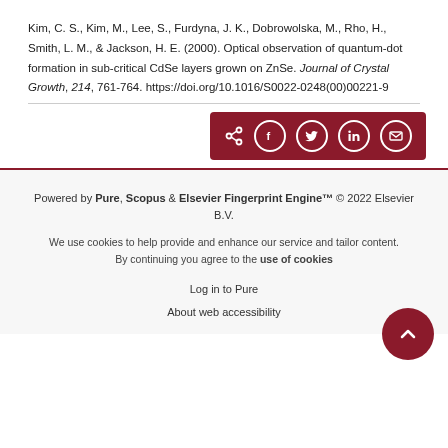Kim, C. S., Kim, M., Lee, S., Furdyna, J. K., Dobrowolska, M., Rho, H., Smith, L. M., & Jackson, H. E. (2000). Optical observation of quantum-dot formation in sub-critical CdSe layers grown on ZnSe. Journal of Crystal Growth, 214, 761-764. https://doi.org/10.1016/S0022-0248(00)00221-9
[Figure (other): Share buttons row: share icon, Facebook, Twitter, LinkedIn, Email — all white icons on dark red background]
Powered by Pure, Scopus & Elsevier Fingerprint Engine™ © 2022 Elsevier B.V.
We use cookies to help provide and enhance our service and tailor content. By continuing you agree to the use of cookies
Log in to Pure
About web accessibility